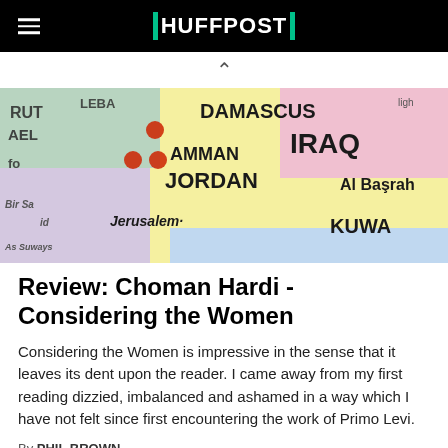HUFFPOST
[Figure (photo): A map of the Middle East showing Damascus, Iraq, Amman, Jordan, Al Basrah, Kuwait, Jerusalem and other locations with red dots marking cities.]
Review: Choman Hardi - Considering the Women
Considering the Women is impressive in the sense that it leaves its dent upon the reader. I came away from my first reading dizzied, imbalanced and ashamed in a way which I have not felt since first encountering the work of Primo Levi.
By PHIL BROWN